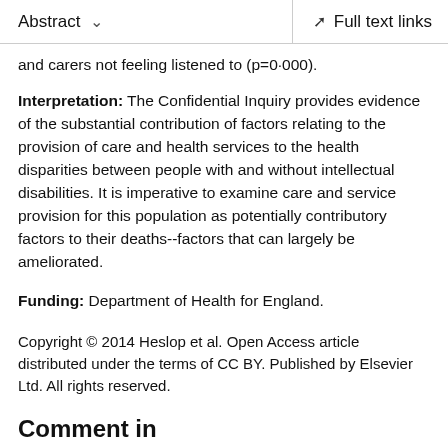Abstract  ∨   Full text links
and carers not feeling listened to (p=0·000).
Interpretation: The Confidential Inquiry provides evidence of the substantial contribution of factors relating to the provision of care and health services to the health disparities between people with and without intellectual disabilities. It is imperative to examine care and service provision for this population as potentially contributory factors to their deaths--factors that can largely be ameliorated.
Funding: Department of Health for England.
Copyright © 2014 Heslop et al. Open Access article distributed under the terms of CC BY. Published by Elsevier Ltd. All rights reserved.
Comment in